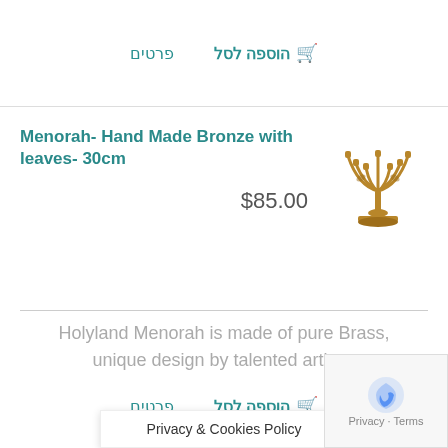הוספה לסל  פרטים
Menorah- Hand Made Bronze with leaves- 30cm
$85.00
[Figure (illustration): Bronze Menorah with 7 branches and leaf decorations]
Holyland Menorah is made of pure Brass, unique design by talented artists.
הוספה לסל  פרטים
Privacy & Cookies Policy